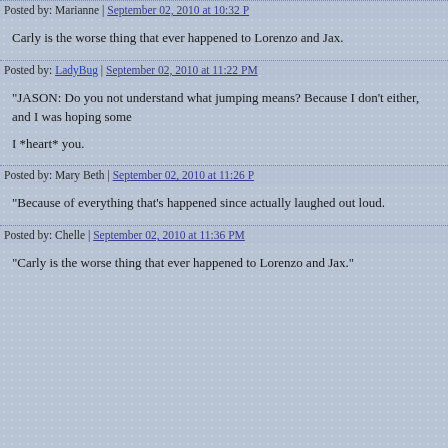Posted by: Marianne | September 02, 2010 at 10:32 PM
Carly is the worse thing that ever happened to Lorenzo and Jax.
Posted by: LadyBug | September 02, 2010 at 11:22 PM
"JASON: Do you not understand what jumping means? Because I don't either, and I was hoping someone could tell me."

I *heart* you.
Posted by: Mary Beth | September 02, 2010 at 11:26 PM
"Because of everything that's happened since... actually laughed out loud.
Posted by: Chelle | September 02, 2010 at 11:36 PM
"Carly is the worse thing that ever happened to Lorenzo and Jax."